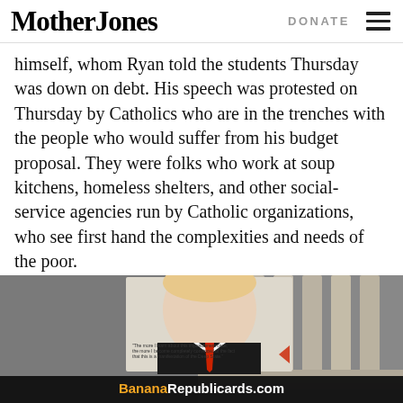Mother Jones | DONATE
himself, whom Ryan told the students Thursday was down on debt. His speech was protested on Thursday by Catholics who are in the trenches with the people who would suffer from his budget proposal. They were folks who work at soup kitchens, homeless shelters, and other social-service agencies run by Catholic organizations, who see first hand the complexities and needs of the poor.
[Figure (photo): Advertisement banner for BananaRepublicards.com showing a partial face with a red tie and a government building with columns in the background. Bottom bar reads 'BananaRepublicards.com']